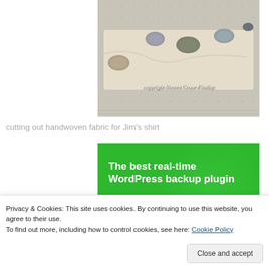[Figure (photo): Photo of stones and fabric on a cutting mat with copyright text overlay reading 'copyright Noreen Crone-Findlay']
cutting out handwoven fabric for Jim's shirt
[Figure (infographic): Green advertisement banner with bold white text reading 'The best real-time WordPress backup plugin']
Privacy & Cookies: This site uses cookies. By continuing to use this website, you agree to their use.
To find out more, including how to control cookies, see here: Cookie Policy
Close and accept